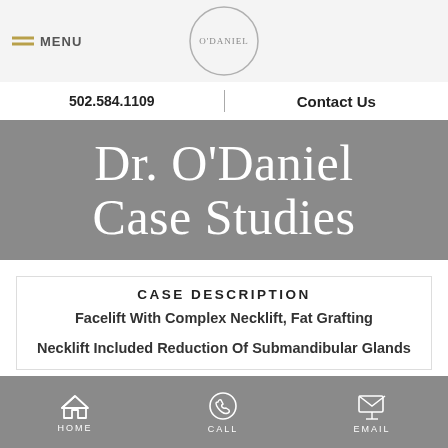MENU | O'DANIEL | 502.584.1109 | Contact Us
Dr. O'Daniel Case Studies
CASE DESCRIPTION
Facelift With Complex Necklift, Fat Grafting
Necklift Included Reduction Of Submandibular Glands
HOME | CALL | EMAIL